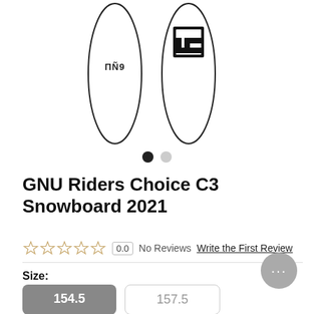[Figure (photo): Product image showing two GNU snowboards side by side (bottom view), one with GNU logo text and one with a large graphic logo, on white background. Below the boards are two pagination dots, one filled black and one gray.]
GNU Riders Choice C3 Snowboard 2021
0.0  No Reviews  Write the First Review
Size:
154.5  157.5
$729.99